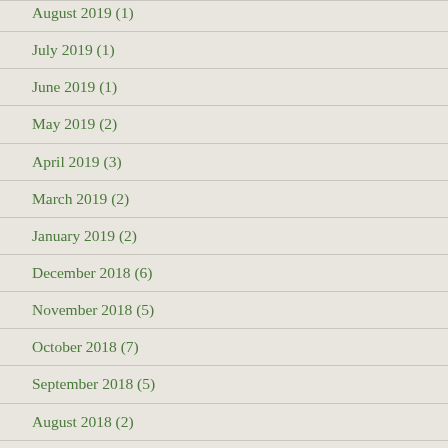August 2019 (1)
July 2019 (1)
June 2019 (1)
May 2019 (2)
April 2019 (3)
March 2019 (2)
January 2019 (2)
December 2018 (6)
November 2018 (5)
October 2018 (7)
September 2018 (5)
August 2018 (2)
July 2018 (3)
June 2018 (6)
May 2018 (4)